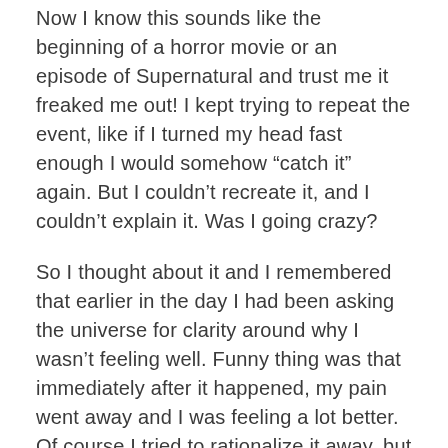Now I know this sounds like the beginning of a horror movie or an episode of Supernatural and trust me it freaked me out! I kept trying to repeat the event, like if I turned my head fast enough I would somehow “catch it” again. But I couldn’t recreate it, and I couldn’t explain it. Was I going crazy?
So I thought about it and I remembered that earlier in the day I had been asking the universe for clarity around why I wasn’t feeling well. Funny thing was that immediately after it happened, my pain went away and I was feeling a lot better. Of course I tried to rationalize it away, but I had been actively seeking clarity, and maybe this was it.